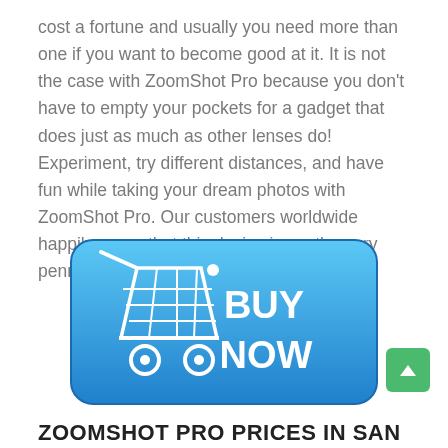cost a fortune and usually you need more than one if you want to become good at it. It is not the case with ZoomShot Pro because you don't have to empty your pockets for a gadget that does just as much as other lenses do! Experiment, try different distances, and have fun while taking your dream photos with ZoomShot Pro. Our customers worldwide happily agree that this device is worth every penny!
[Figure (illustration): A blue rounded-rectangle button with a white shopping cart icon on the left and bold white text 'BUY NOW' on the right.]
[Figure (illustration): A small green rounded square button with a white upward-pointing arrow, positioned in the bottom-right corner.]
ZOOMSHOT PRO PRICES IN SAN